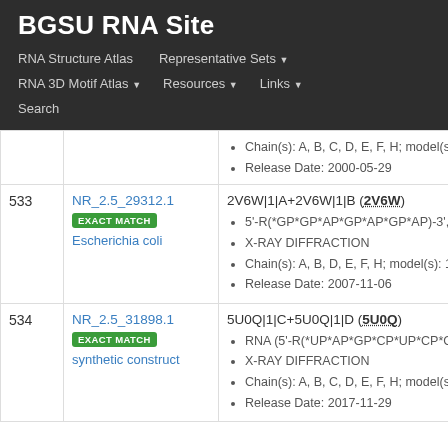BGSU RNA Site
RNA Structure Atlas | Representative Sets | RNA 3D Motif Atlas | Resources | Links | Search
Chain(s): A, B, C, D, E, F, H; model(s): 1
Release Date: 2000-05-29
533 NR_2.5_29312.1 EXACT MATCH Escherichia coli
2V6W|1|A+2V6W|1|B (2V6W)
5'-R(*GP*GP*AP*GP*AP*GP*AP)-3', 5'-R
X-RAY DIFFRACTION
Chain(s): A, B, D, E, F, H; model(s): 1
Release Date: 2007-11-06
534 NR_2.5_31898.1 EXACT MATCH synthetic construct
5U0Q|1|C+5U0Q|1|D (5U0Q)
RNA (5'-R(*UP*AP*GP*CP*UP*CP*C)-3')
X-RAY DIFFRACTION
Chain(s): A, B, C, D, E, F, H; model(s): 1
Release Date: 2017-11-29